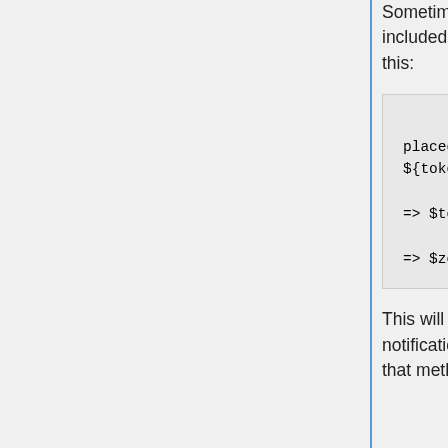Sometimes it is the case that you want to pass arguments that are not actually included in the output message. For example, suppose we have a method like this:
$this->notifyAllPlayers('tokenPlaced placed ${token_name}'),array(
                'token_name' => $token_id,
                'zone_played' => $zone);
This will output "Player placed ${token_name}" in the log, and if we subscribe to a notification method activated by the "tokenPlaced" event in the client-side code, that method can make use of the 'zone_played'